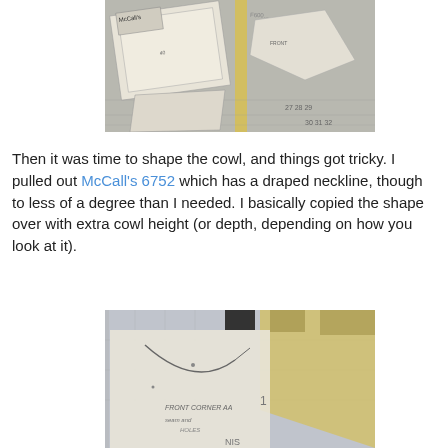[Figure (photo): Overhead photo of sewing pattern pieces (McCall's 6752) laid out on a surface, showing pattern envelope and tissue paper pieces with numbers visible]
Then it was time to shape the cowl, and things got tricky. I pulled out McCall's 6752 which has a draped neckline, though to less of a degree than I needed. I basically copied the shape over with extra cowl height (or depth, depending on how you look at it).
[Figure (photo): Close-up photo of sewing pattern tissue paper on a cutting mat, showing a curved neckline shape drawn/traced with pencil, with handwritten notes including 'FRONT CORNER AA' visible on the pattern piece]